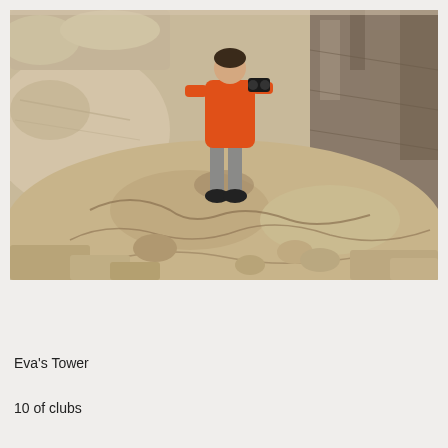[Figure (photo): A person wearing an orange jacket and gray pants standing on top of large rocky boulders in a mountainous landscape. The rocks are tan and sandy-colored, with rough textures. Rocky cliffs are visible in the background.]
Eva's Tower
10 of clubs